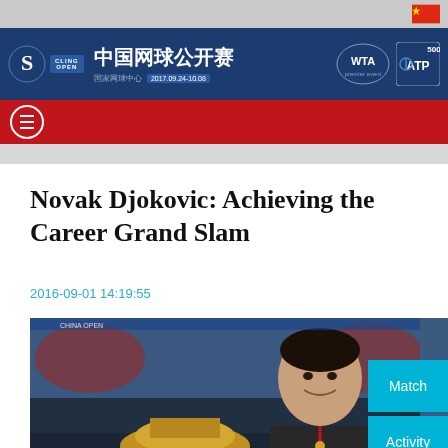中国网球公开赛 China Open 国家网球中心 2017.09.24-10.08
Novak Djokovic: Achieving the Career Grand Slam
2016-09-01 14:19:55
[Figure (photo): Novak Djokovic holding a trophy, smiling, at what appears to be the China Open tennis tournament. Crowd visible in background.]
Match
Activity